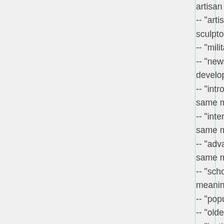artisan
-- "artist" in sculptor an
-- "military"
-- "news" in developing
-- "introduc same mear
-- "intermed same mear
-- "advance same mear
-- "scholarly meaning
-- "popular"
-- "older" in
-- "institutio conspiracy
-- "governm prospective